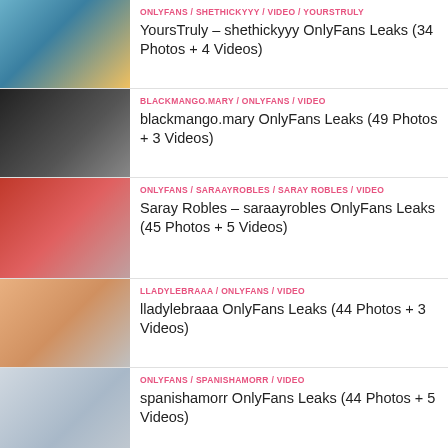ONLYFANS / SHETHICKYYY / VIDEO / YOURSTRULY
YoursTruly – shethickyyy OnlyFans Leaks (34 Photos + 4 Videos)
BLACKMANGO.MARY / ONLYFANS / VIDEO
blackmango.mary OnlyFans Leaks (49 Photos + 3 Videos)
ONLYFANS / SARAAYROBLES / SARAY ROBLES / VIDEO
Saray Robles – saraayrobles OnlyFans Leaks (45 Photos + 5 Videos)
LLADYLEBRAAA / ONLYFANS / VIDEO
lladylebraaa OnlyFans Leaks (44 Photos + 3 Videos)
ONLYFANS / SPANISHAMORR / VIDEO
spanishamorr OnlyFans Leaks (44 Photos + 5 Videos)